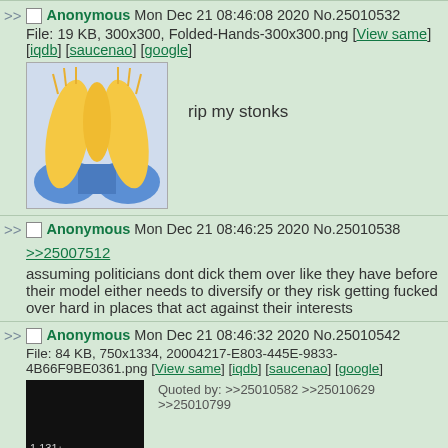>> Anonymous Mon Dec 21 08:46:08 2020 No.25010532
File: 19 KB, 300x300, Folded-Hands-300x300.png [View same] [iqdb] [saucenao] [google]
rip my stonks
[Figure (illustration): Folded hands / prayer emoji (🙏) yellow hands with blue sleeves on light blue background]
>> Anonymous Mon Dec 21 08:46:25 2020 No.25010538
>>25007512
assuming politicians dont dick them over like they have before their model either needs to diversify or they risk getting fucked over hard in places that act against their interests
>> Anonymous Mon Dec 21 08:46:32 2020 No.25010542
File: 84 KB, 750x1334, 20004217-E803-445E-9833-4B66F9BE0361.png [View same] [iqdb] [saucenao] [google]
Quoted by: >>25010582 >>25010629 >>25010799